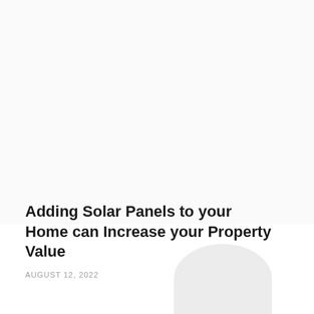Adding Solar Panels to your Home can Increase your Property Value
AUGUST 12, 2022